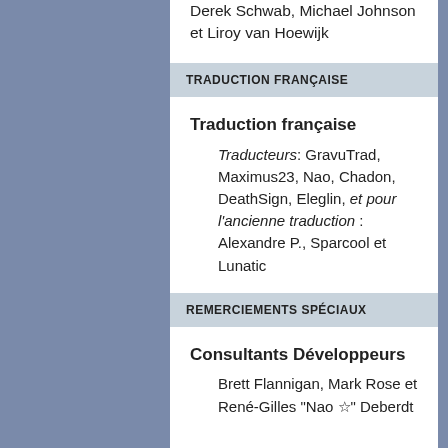Derek Schwab, Michael Johnson et Liroy van Hoewijk
TRADUCTION FRANÇAISE
Traduction française
Traducteurs: GravuTrad, Maximus23, Nao, Chadon, DeathSign, Eleglin, et pour l'ancienne traduction : Alexandre P., Sparcool et Lunatic
REMERCIEMENTS SPÉCIAUX
Consultants Développeurs
Brett Flannigan, Mark Rose et René-Gilles "Nao ☆" Deberdt